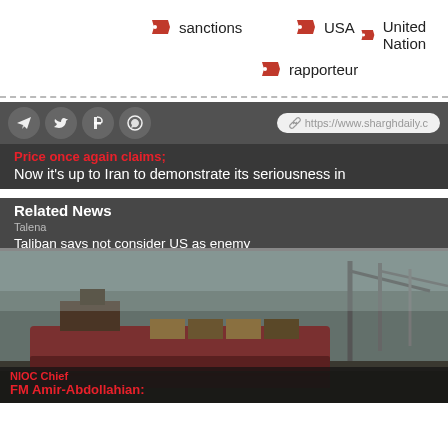sanctions
USA
United Nation
rapporteur
[Figure (screenshot): Share bar with social media icons (Telegram, Twitter, Facebook, WhatsApp) and a URL pill showing https://www.sharghdaily.c]
Price once again claims;
Now it's up to Iran to demonstrate its seriousness in
Related News
Talena
Taliban says not consider US as enemy
[Figure (photo): A large cargo/tanker ship docked at a port with cranes visible in the background. Dark, muted tones.]
NIOC Chief
FM Amir-Abdollahian: